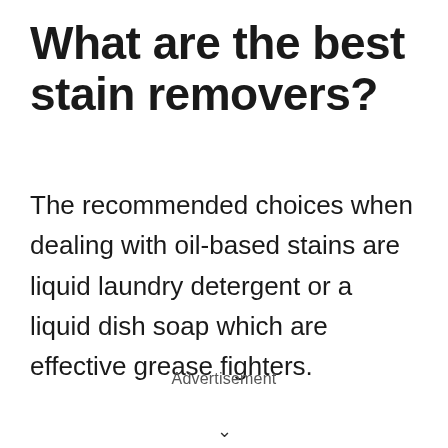What are the best stain removers?
The recommended choices when dealing with oil-based stains are liquid laundry detergent or a liquid dish soap which are effective grease fighters.
Advertisement